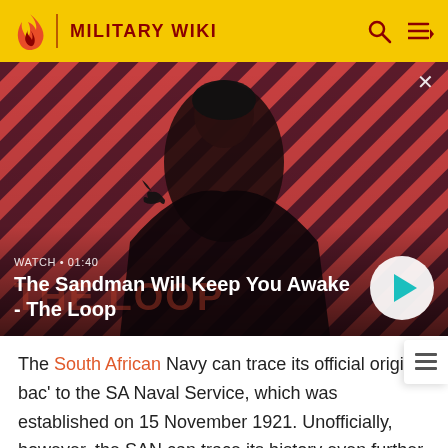MILITARY WIKI
[Figure (screenshot): Video thumbnail showing a dark-cloaked figure with a bird on their shoulder against a red diagonal striped background. Text overlay reads 'WATCH • 01:40' and 'The Sandman Will Keep You Awake - The Loop' with a play button.]
The South African Navy can trace its official origins back to the SA Naval Service, which was established on 15 November 1921. Unofficially, however, the SAN can trace its history even further back, to the Natal Naval Volunteers (NNV), which was formed in Durban on 30 April